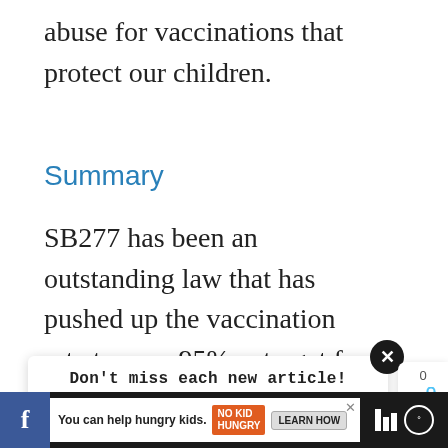abuse for vaccinations that protect our children.
Summary
SB277 has been an outstanding law that has pushed up the vaccination rate to over 95%, a target for the herd
Don't miss each new article!
Email Address *
You can help hungry kids.  NO KID HUNGRY  LEARN HOW